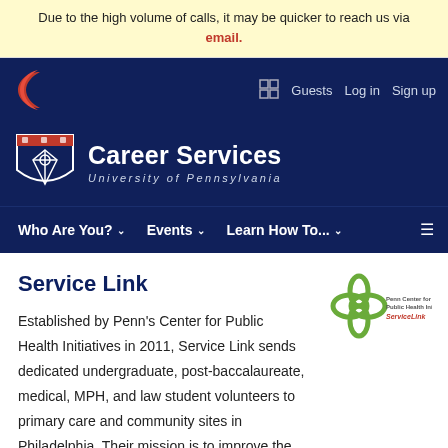Due to the high volume of calls, it may be quicker to reach us via email.
Career Services — University of Pennsylvania
Who Are You?  Events  Learn How To...
Service Link
[Figure (logo): Penn Center for Public Health Initiatives ServiceLink logo]
Established by Penn's Center for Public Health Initiatives in 2011, Service Link sends dedicated undergraduate, post-baccalaureate, medical, MPH, and law student volunteers to primary care and community sites in Philadelphia. Their mission is to improve the health of Philadelphians by linking them with